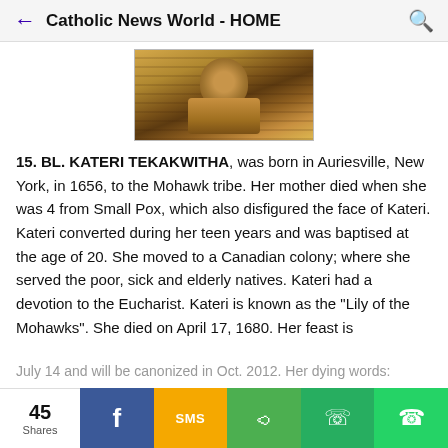Catholic News World - HOME
[Figure (photo): Photo of Bl. Kateri Tekakwitha — a portrait showing hands clasped over a fringed native garment with warm golden-brown tones]
15. BL. KATERI TEKAKWITHA, was born in Auriesville, New York, in 1656, to the Mohawk tribe. Her mother died when she was 4 from Small Pox, which also disfigured the face of Kateri. Kateri converted during her teen years and was baptised at the age of 20. She moved to a Canadian colony; where she served the poor, sick and elderly natives. Kateri had a devotion to the Eucharist. Kateri is known as the "Lily of the Mohawks". She died on April 17, 1680. Her feast is July 14 and will be canonized in Oct. 2012. Her dying words:
45 Shares | Facebook | SMS | Share | WeChat | WhatsApp